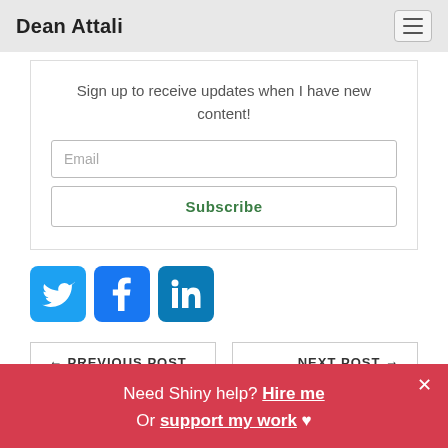Dean Attali
Sign up to receive updates when I have new content!
Email
Subscribe
[Figure (other): Social media icons: Twitter (blue bird), Facebook (blue f), LinkedIn (blue in)]
← PREVIOUS POST
NEXT POST →
Need Shiny help? Hire me
Or support my work ♥